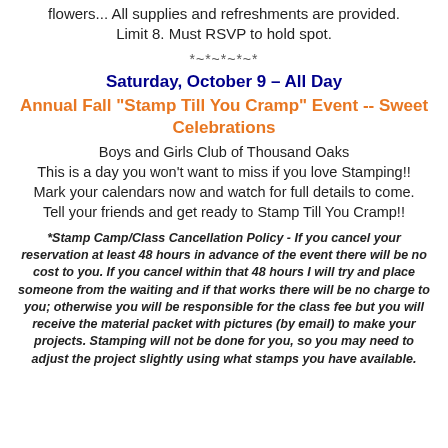flowers... All supplies and refreshments are provided. Limit 8. Must RSVP to hold spot.
*~*~*~*~*
Saturday, October 9 – All Day
Annual Fall “Stamp Till You Cramp” Event -- Sweet Celebrations
Boys and Girls Club of Thousand Oaks
This is a day you won’t want to miss if you love Stamping!!
Mark your calendars now and watch for full details to come.
Tell your friends and get ready to Stamp Till You Cramp!!
*Stamp Camp/Class Cancellation Policy - If you cancel your reservation at least 48 hours in advance of the event there will be no cost to you. If you cancel within that 48 hours I will try and place someone from the waiting and if that works there will be no charge to you; otherwise you will be responsible for the class fee but you will receive the material packet with pictures (by email) to make your projects. Stamping will not be done for you, so you may need to adjust the project slightly using what stamps you have available.